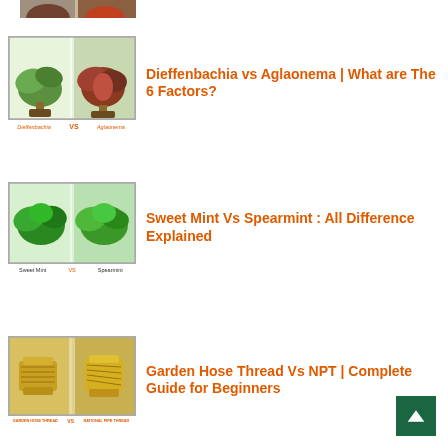[Figure (photo): Partial top image cropped, showing bottom edge of a photo with pots/plants]
[Figure (photo): Comparison image: Dieffenbachia vs Aglaonema plants side by side, labeled Dieffenbachia VS Aglaonema]
Dieffenbachia vs Aglaonema | What are The 6 Factors?
[Figure (photo): Comparison image: Sweet Mint vs Spearmint leaves side by side, labeled Sweet Mint VS Spearmint]
Sweet Mint Vs Spearmint : All Difference Explained
[Figure (photo): Comparison image: Garden Hose Thread vs NPT fittings (brass), labeled GARDEN HOSE THREAD VS NATIONAL PIPE THREAD]
Garden Hose Thread Vs NPT | Complete Guide for Beginners